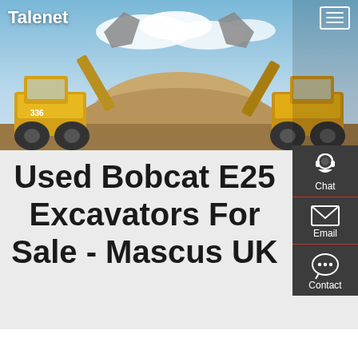[Figure (photo): Hero banner image showing two large yellow wheel loaders/excavators facing each other with raised buckets against a sky background]
Talenet
Used Bobcat E25 Excavators For Sale - Mascus UK
[Figure (infographic): Sidebar with Chat, Email, and Contact icons on dark gray background]